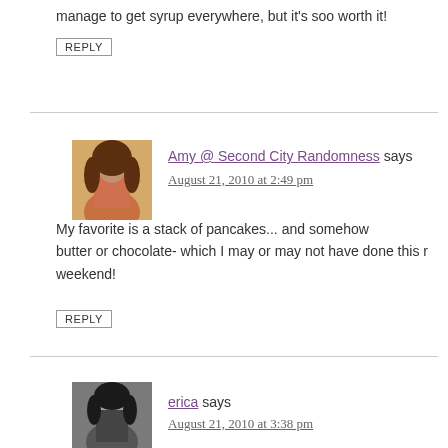manage to get syrup everywhere, but it's soo worth it!
REPLY
Amy @ Second City Randomness says
August 21, 2010 at 2:49 pm
My favorite is a stack of pancakes... and somehow butter or chocolate- which I may or may not have done this r weekend!
REPLY
erica says
August 21, 2010 at 3:38 pm